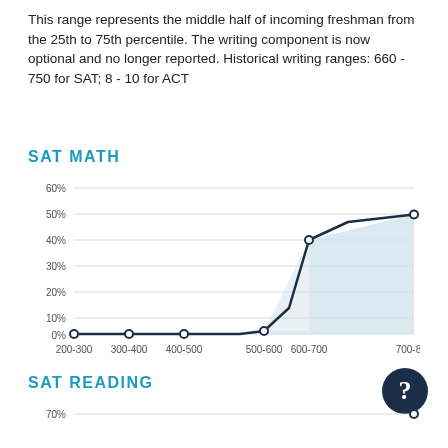This range represents the middle half of incoming freshman from the 25th to 75th percentile. The writing component is now optional and no longer reported. Historical writing ranges: 660 - 750 for SAT; 8 - 10 for ACT
SAT MATH
[Figure (area-chart): SAT MATH]
SAT READING